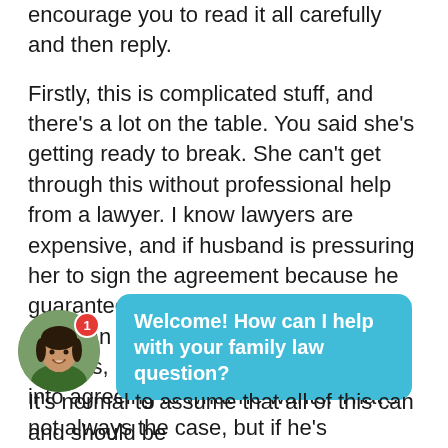encourage you to read it all carefully and then reply.
Firstly, this is complicated stuff, and there's a lot on the table. You said she's getting ready to break. She can't get through this without professional help from a lawyer. I know lawyers are expensive, and if husband is pressuring her to sign the agreement because he guarantees her it's fair and this way they can avoid court and expensive lawyers, he's simply trying to bully her into agreeing to what he wants. That's not always the case, but if he's threatened her with selling the house if she doesn't agree to his proposal, that's no agreement at all. How does she know if the agreement is fair or reasonable unless she gets advice on it? Husband is trying to bully her, I guarantee it. Do everything in your power to persuade her that his threat to sell the house is
[Figure (photo): Chat widget with avatar photo of a smiling woman and a teal speech bubble saying 'Welcome! How can I help with your family law question?']
It's normal to assume that all of this can and should be